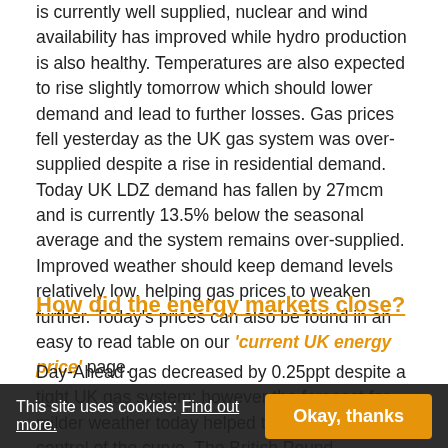is currently well supplied, nuclear and wind availability has improved while hydro production is also healthy. Temperatures are also expected to rise slightly tomorrow which should lower demand and lead to further losses. Gas prices fell yesterday as the UK gas system was over-supplied despite a rise in residential demand. Today UK LDZ demand has fallen by 27mcm and is currently 13.5% below the seasonal average and the system remains over-supplied. Improved weather should keep demand levels relatively low, helping gas prices to weaken further. Today's prices can also be found in an easy to read table on our 'current UK energy price' page.
How did the energy markets close?
Day-Ahead gas decreased by 0.25ppt despite a tight UK gas system; however the forecast for milder weather today helped the bears take control of the curve. The British Pound strengthened against the Euro which also weighed on prices with Q3-14 and Summer-16 both falling by 0.40pt. Front Quarter was the only contract to regis...
This site uses cookies: Find out more. Okay, thanks